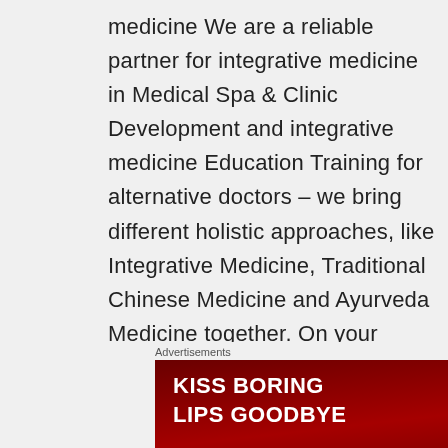medicine We are a reliable partner for integrative medicine in Medical Spa & Clinic Development and integrative medicine Education Training for alternative doctors – we bring different holistic approaches, like Integrative Medicine, Traditional Chinese Medicine and Ayurveda Medicine together. On your request we offer our service in your place as well. Heavy metal poisoning Heavy metal poisoning is much more common than most people realize, and if you're thinking
Advertisements
[Figure (infographic): Macy's advertisement banner with text 'KISS BORING LIPS GOODBYE' and 'SHOP NOW' button with Macy's star logo, featuring a woman's face with red lips.]